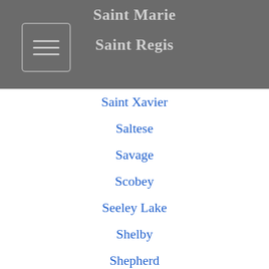Saint Marie
Saint Regis
Saint Xavier
Saltese
Savage
Scobey
Seeley Lake
Shelby
Shepherd
Sheridan
Silver Gate